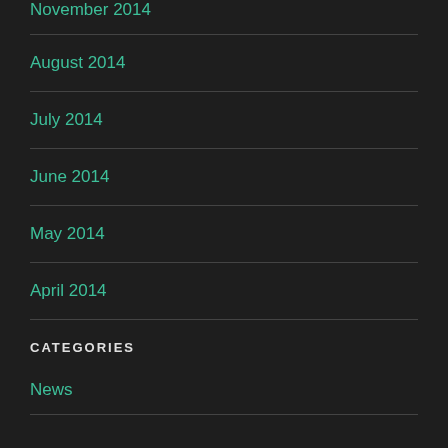November 2014
August 2014
July 2014
June 2014
May 2014
April 2014
CATEGORIES
News